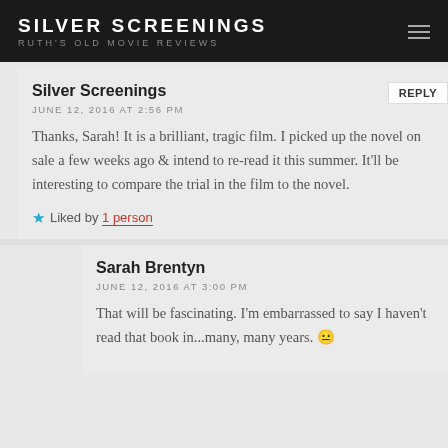SILVER SCREENINGS
RUTH'S OLD MOVIE REVIEWS
Silver Screenings
JUNE 12, 2016 AT 2:56 PM
Thanks, Sarah! It is a brilliant, tragic film. I picked up the novel on sale a few weeks ago & intend to re-read it this summer. It'll be interesting to compare the trial in the film to the novel.
Liked by 1 person
Sarah Brentyn
JUNE 12, 2016 AT 3:00 PM
That will be fascinating. I'm embarrassed to say I haven't read that book in...many, many years. 😐